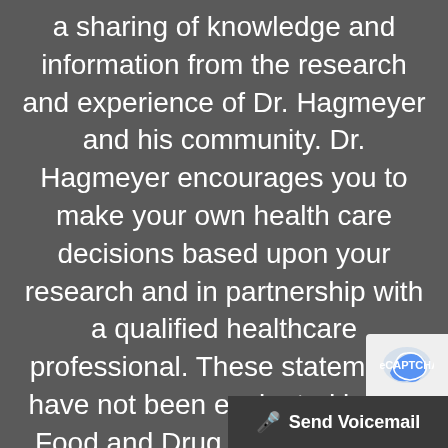a sharing of knowledge and information from the research and experience of Dr. Hagmeyer and his community. Dr. Hagmeyer encourages you to make your own health care decisions based upon your research and in partnership with a qualified healthcare professional. These statements have not been evaluated by the Food and Drug Administration. Dr. Hagmeyer products are not intended to diagnose, treat, cure or prevent any disease. If you are pregnant, nursing, taking medication, or have a medical condition, consult your physician before using
[Figure (logo): reCAPTCHA logo icon in a light gray box in bottom right corner]
🎤 Send Voicemail